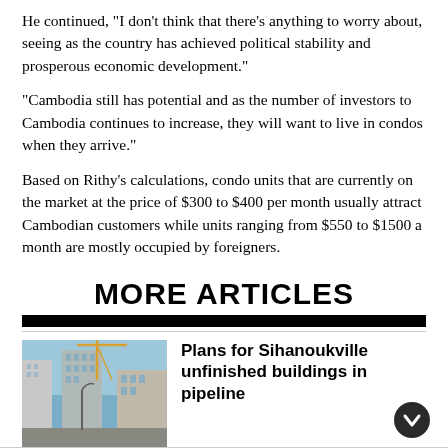He continued, “I don’t think that there’s anything to worry about, seeing as the country has achieved political stability and prosperous economic development.”
“Cambodia still has potential and as the number of investors to Cambodia continues to increase, they will want to live in condos when they arrive.”
Based on Rithy’s calculations, condo units that are currently on the market at the price of $300 to $400 per month usually attract Cambodian customers while units ranging from $550 to $1500 a month are mostly occupied by foreigners.
MORE ARTICLES
[Figure (photo): Photograph of Sihanoukville buildings and construction cranes on a city street]
Plans for Sihanoukville unfinished buildings in pipeline